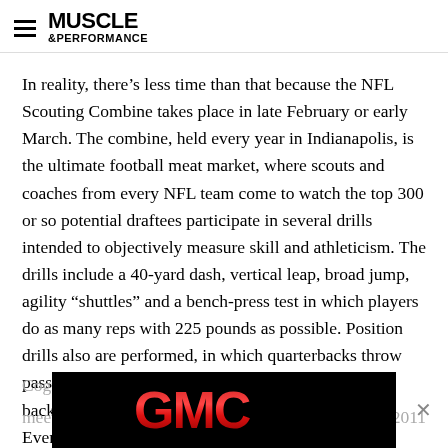MUSCLE &PERFORMANCE
In reality, there’s less time than that because the NFL Scouting Combine takes place in late February or early March. The combine, held every year in Indianapolis, is the ultimate football meat market, where scouts and coaches from every NFL team come to watch the top 300 or so potential draftees participate in several drills intended to objectively measure skill and athleticism. The drills include a 40-yard dash, vertical leap, broad jump, agility “shuttles” and a bench-press test in which players do as many reps with 225 pounds as possible. Position drills also are performed, in which quarterbacks throw passes, wide receivers catch balls, defensive backs backpedal, and so on, to display game-specific skills. Even psychological elements are evaluated at the combine, including a Wonderlic Cognitive...meeting...2011
[Figure (logo): GMC logo advertisement overlay on black background with close button]